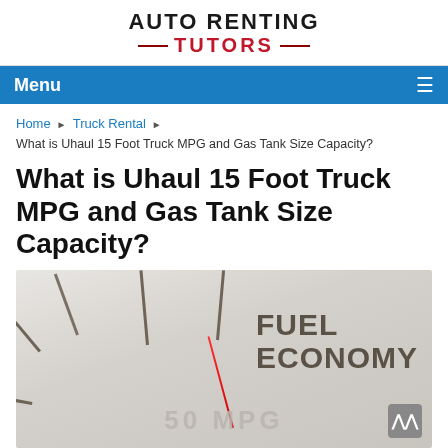AUTO RENTING TUTORS
Menu
Home ▶ Truck Rental ▶ What is Uhaul 15 Foot Truck MPG and Gas Tank Size Capacity?
What is Uhaul 15 Foot Truck MPG and Gas Tank Size Capacity?
[Figure (photo): A fuel economy speedometer gauge showing 'FUEL ECONOMY' text and '50 MPG' at the bottom with a red needle pointer]